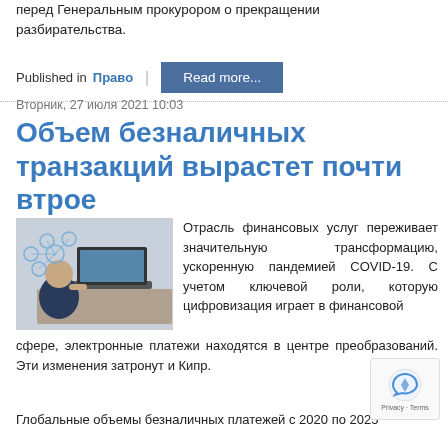перед Генеральным прокурором о прекращении разбирательства.
Published in  Право  |  Read more...
Вторник, 27 июля 2021 10:03
Объем безналичных транзакций вырастет почти втрое
[Figure (photo): Person using laptop with digital financial service icons overlay]
Отрасль финансовых услуг переживает значительную трансформацию, ускоренную пандемией COVID-19. С учетом ключевой роли, которую цифровизация играет в финансовой сфере, электронные платежи находятся в центре преобразований. Эти изменения затронут и Кипр.
Глобальные объемы безналичных платежей с 2020 по 2025